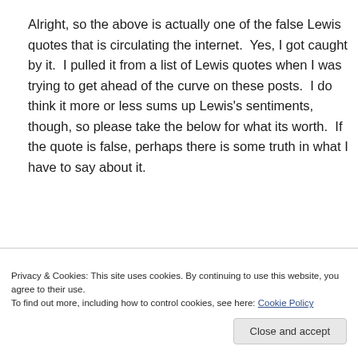Alright, so the above is actually one of the false Lewis quotes that is circulating the internet.  Yes, I got caught by it.  I pulled it from a list of Lewis quotes when I was trying to get ahead of the curve on these posts.  I do think it more or less sums up Lewis's sentiments, though, so please take the below for what its worth.  If the quote is false, perhaps there is some truth in what I have to say about it.
Privacy & Cookies: This site uses cookies. By continuing to use this website, you agree to their use.
To find out more, including how to control cookies, see here: Cookie Policy
does good; it makes us more intelligent sinners, and